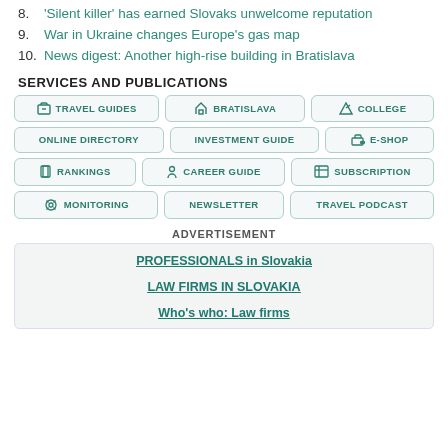8. 'Silent killer' has earned Slovaks unwelcome reputation
9. War in Ukraine changes Europe's gas map
10. News digest: Another high-rise building in Bratislava
SERVICES AND PUBLICATIONS
[Figure (infographic): Grid of service/publication buttons: Travel Guides, Bratislava, College, Online Directory, Investment Guide, E-Shop, Rankings, Career Guide, Subscription, Monitoring, Newsletter, Travel Podcast]
ADVERTISEMENT
PROFESSIONALS in Slovakia
LAW FIRMS IN SLOVAKIA
Who's who: Law firms